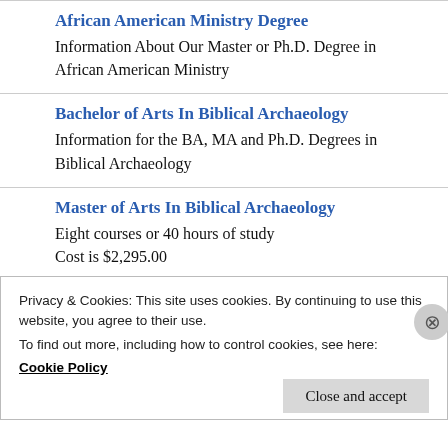African American Ministry Degree
Information About Our Master or Ph.D. Degree in African American Ministry
Bachelor of Arts In Biblical Archaeology
Information for the BA, MA and Ph.D. Degrees in Biblical Archaeology
Master of Arts In Biblical Archaeology
Eight courses or 40 hours of study
Cost is $2,295.00
Doctor of Philosophy in Biblical
Privacy & Cookies: This site uses cookies. By continuing to use this website, you agree to their use.
To find out more, including how to control cookies, see here:
Cookie Policy
Close and accept